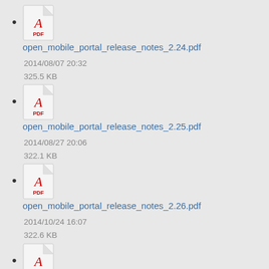open_mobile_portal_release_notes_2.24.pdf
open_mobile_portal_release_notes_2.25.pdf
2014/08/27 20:06
322.1 KB
open_mobile_portal_release_notes_2.26.pdf
2014/10/24 16:07
322.6 KB
open_mobile_portal_release_notes_2.27.pdf